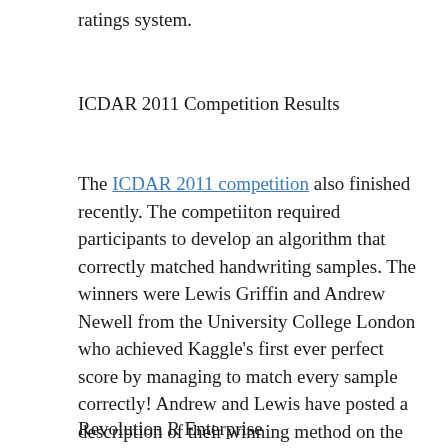ratings system.
ICDAR 2011 Competition Results
The ICDAR 2011 competition also finished recently. The competiiton required participants to develop an algorithm that correctly matched handwriting samples. The winners were Lewis Griffin and Andrew Newell from the University College London who achieved Kaggle’s first ever perfect score by managing to match every sample correctly! Andrew and Lewis have posted a description of their winning method on the Kaggle blog.
Revolution R Enterprise